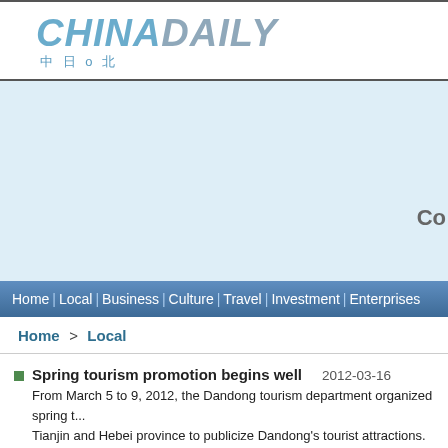CHINADAILY 中日o北
[Figure (other): Light blue advertisement/banner area with partial text 'Co' visible at right side]
Home | Local | Business | Culture | Travel | Investment | Enterprises
Home > Local
Spring tourism promotion begins well    2012-03-16
From March 5 to 9, 2012, the Dandong tourism department organized spring t... Tianjin and Hebei province to publicize Dandong's tourist attractions.